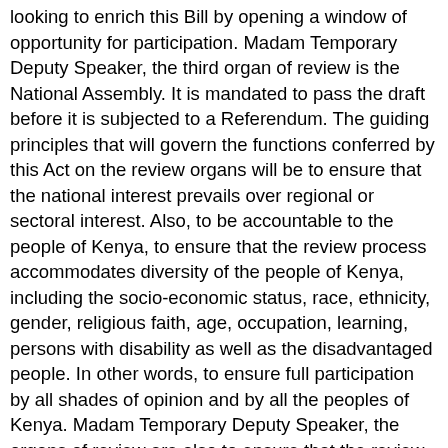looking to enrich this Bill by opening a window of opportunity for participation. Madam Temporary Deputy Speaker, the third organ of review is the National Assembly. It is mandated to pass the draft before it is subjected to a Referendum. The guiding principles that will govern the functions conferred by this Act on the review organs will be to ensure that the national interest prevails over regional or sectoral interest. Also, to be accountable to the people of Kenya, to ensure that the review process accommodates diversity of the people of Kenya, including the socio-economic status, race, ethnicity, gender, religious faith, age, occupation, learning, persons with disability as well as the disadvantaged people. In other words, to ensure full participation by all shades of opinion and by all the peoples of Kenya. Madam Temporary Deputy Speaker, the organs of review are also to ensure that the review process provides the people of Kenya with an opportunity to actively, freely and meaningfully participate in generating and debating proposals to review and replace the Constitution. Finally, the organs of review are to ensure that the outcome of the review process faithfully reflects the wishes of the people of Kenya. Madam Temporary Deputy Speaker, if you go to Part III of Clause 21, the functions and powers of the first organ of review, which is the Committee of